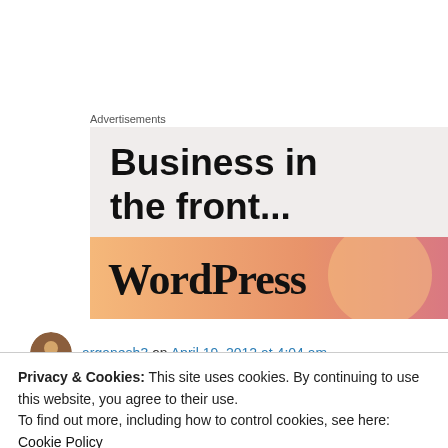Advertisements
[Figure (screenshot): WordPress advertisement banner with text 'Business in the front...' on light grey background and 'WordPress' text on an orange/pink gradient banner below.]
arganesh3 on April 19, 2012 at 4:04 am
Privacy & Cookies: This site uses cookies. By continuing to use this website, you agree to their use.
To find out more, including how to control cookies, see here: Cookie Policy
Close and accept